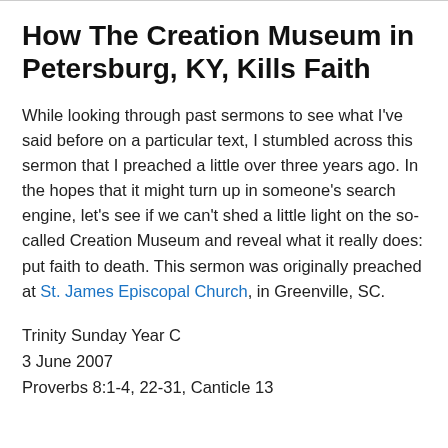How The Creation Museum in Petersburg, KY, Kills Faith
While looking through past sermons to see what I've said before on a particular text, I stumbled across this sermon that I preached a little over three years ago. In the hopes that it might turn up in someone's search engine, let's see if we can't shed a little light on the so-called Creation Museum and reveal what it really does: put faith to death. This sermon was originally preached at St. James Episcopal Church, in Greenville, SC.
Trinity Sunday Year C
3 June 2007
Proverbs 8:1-4, 22-31, Canticle 13